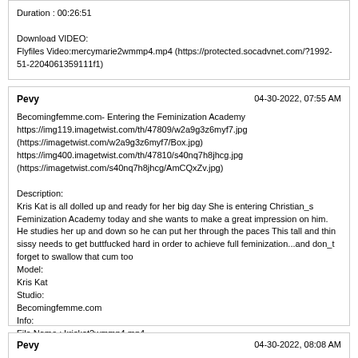Duration : 00:26:51

Download VIDEO:
Flyfiles Video:mercymarie2wmmp4.mp4 (https://protected.socadvnet.com/?1992-51-2204061359111f1)
Pevy	04-30-2022, 07:55 AM

Becomingfemme.com- Entering the Feminization Academy
https://img119.imagetwist.com/th/47809/w2a9g3z6myf7.jpg (https://imagetwist.com/w2a9g3z6myf7/Box.jpg)
https://img400.imagetwist.com/th/47810/s40nq7h8jhcg.jpg (https://imagetwist.com/s40nq7h8jhcg/AmCQxZv.jpg)

Description:
Kris Kat is all dolled up and ready for her big day She is entering Christian_s Feminization Academy today and she wants to make a great impression on him. He studies her up and down so he can put her through the paces This tall and thin sissy needs to get buttfucked hard in order to achieve full feminization...and don_t forget to swallow that cum too
Model:
Kris Kat
Studio:
Becomingfemme.com
Info:
File Name : kriskat2wmmp4.mp4
File Size : 1561.19 MB
Resolution : 3840x2160
Duration : 00:26:25

Download VIDEO:
Flyfiles Video:kriskat2wmmp4.mp4 (https://protected.socadvnet.com/?1992-48-2204061454534478)
Pevy	04-30-2022, 08:08 AM